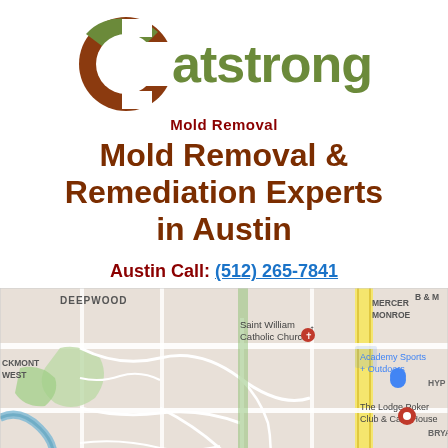[Figure (logo): Catstrong logo: a brown and olive-green C circle with the word 'atstrong' in olive-green bold text]
Mold Removal
Mold Removal & Remediation Experts in Austin
Austin Call: (512) 265-7841
[Figure (map): Google Maps view of Austin area showing Saint William Catholic Church, Academy Sports + Outdoors, The Lodge Poker Club & Card House, Saint Williams Addition, Mercer Monroe, Southgate, Kenney Fort Center, Flix Brewhouse Round Rock, Deepwood, Eckmont West, B & M, HYP, Bryan, Daystar, OW Brook neighborhoods]